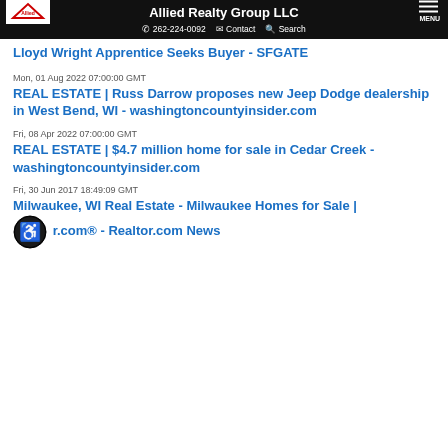Allied Realty Group LLC | 262-224-0092 | Contact | Search | MENU
Lloyd Wright Apprentice Seeks Buyer - SFGATE
Mon, 01 Aug 2022 07:00:00 GMT
REAL ESTATE | Russ Darrow proposes new Jeep Dodge dealership in West Bend, WI - washingtoncountyinsider.com
Fri, 08 Apr 2022 07:00:00 GMT
REAL ESTATE | $4.7 million home for sale in Cedar Creek - washingtoncountyinsider.com
Fri, 30 Jun 2017 18:49:09 GMT
Milwaukee, WI Real Estate - Milwaukee Homes for Sale | r.com® - Realtor.com News